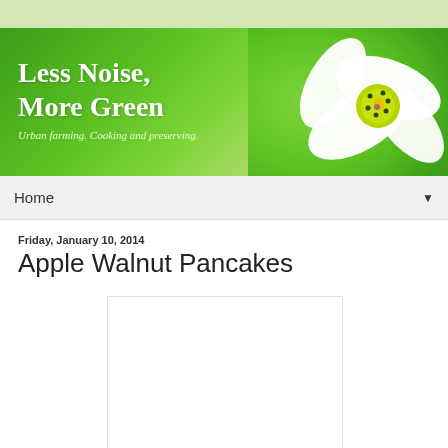Less Noise, More Green — Urban farming. Cooking and preserving.
Home
Friday, January 10, 2014
Apple Walnut Pancakes
[Figure (photo): White flower with yellow-green center on green background — blog header image; below: a white rectangular image placeholder for the blog post photo]